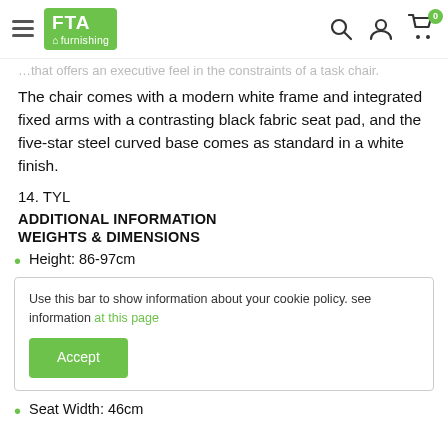FTA Furnishing — navigation header with hamburger menu, logo, search, account, and cart icons
…that offers an executive feel in the constraints of a task chair.
The chair comes with a modern white frame and integrated fixed arms with a contrasting black fabric seat pad, and the five-star steel curved base comes as standard in a white finish.
14. TYL
ADDITIONAL INFORMATION
WEIGHTS & DIMENSIONS
Height: 86-97cm
Use this bar to show information about your cookie policy. see information at this page
Accept
Seat Width: 46cm